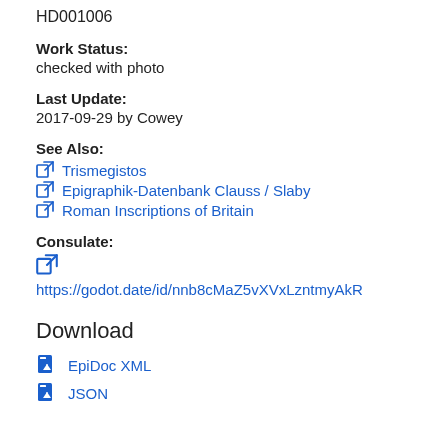HD001006
Work Status:
checked with photo
Last Update:
2017-09-29 by Cowey
See Also:
Trismegistos
Epigraphik-Datenbank Clauss / Slaby
Roman Inscriptions of Britain
Consulate:
https://godot.date/id/nnb8cMaZ5vXVxLzntmyAkR
Download
EpiDoc XML
JSON